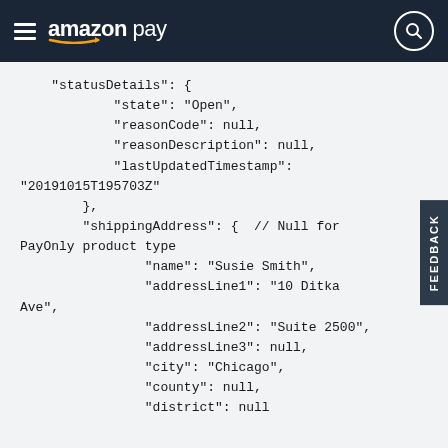amazon pay
"statusDetails": {
        "state": "Open",
        "reasonCode": null,
        "reasonDescription": null,
        "lastUpdatedTimestamp": "20191015T195703Z"
    },
    "shippingAddress": {  // Null for PayOnly product type
            "name": "Susie Smith",
            "addressLine1": "10 Ditka Ave",
            "addressLine2": "Suite 2500",
            "addressLine3": null,
            "city": "Chicago",
            "county": null,
            "district": null